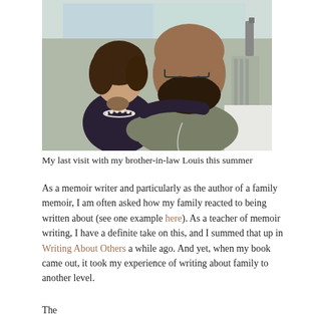[Figure (photo): A woman with dark hair wearing a black top and pearl necklace stands with her arm around a large bearded man wearing a grey t-shirt with medical equipment visible, in what appears to be a hospital room with a window in the background.]
My last visit with my brother-in-law Louis this summer
As a memoir writer and particularly as the author of a family memoir, I am often asked how my family reacted to being written about (see one example here). As a teacher of memoir writing, I have a definite take on this, and I summed that up in Writing About Others a while ago. And yet, when my book came out, it took my experience of writing about family to another level.
The...